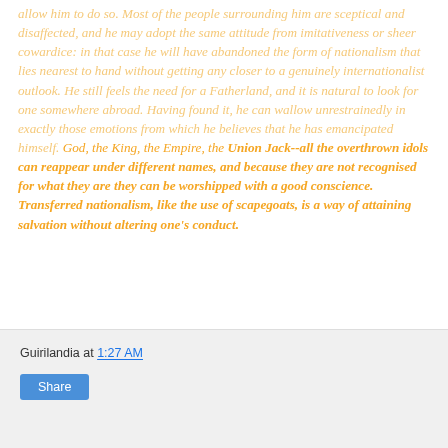allow him to do so. Most of the people surrounding him are sceptical and disaffected, and he may adopt the same attitude from imitativeness or sheer cowardice: in that case he will have abandoned the form of nationalism that lies nearest to hand without getting any closer to a genuinely internationalist outlook. He still feels the need for a Fatherland, and it is natural to look for one somewhere abroad. Having found it, he can wallow unrestrainedly in exactly those emotions from which he believes that he has emancipated himself. God, the King, the Empire, the Union Jack--all the overthrown idols can reappear under different names, and because they are not recognised for what they are they can be worshipped with a good conscience. Transferred nationalism, like the use of scapegoats, is a way of attaining salvation without altering one's conduct.
Guirilandia at 1:27 AM
Share